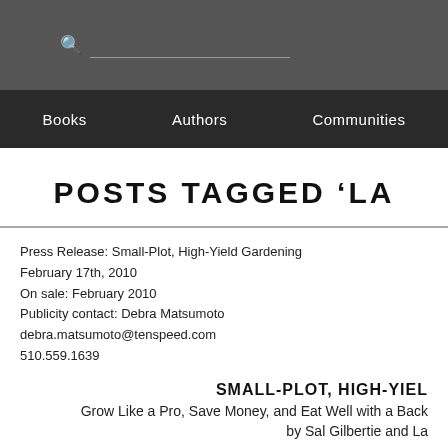Search bar header with navigation: Books, Authors, Communities
POSTS TAGGED 'LA
Press Release: Small-Plot, High-Yield Gardening
February 17th, 2010
On sale: February 2010
Publicity contact: Debra Matsumoto
debra.matsumoto@tenspeed.com
510.559.1639
SMALL-PLOT, HIGH-YIEL
Grow Like a Pro, Save Money, and Eat Well with a Back
by Sal Gilbertie and La
“Gardeners are optimists. They practice the power of positive thinking with every